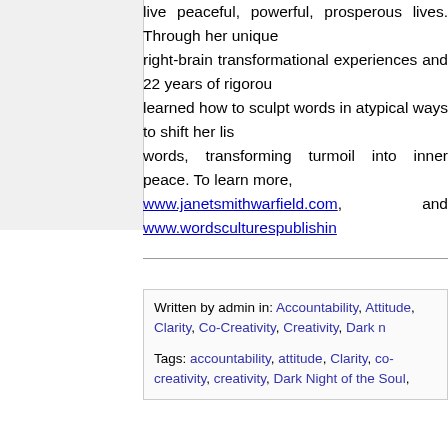live peaceful, powerful, prosperous lives. Through her unique right-brain transformational experiences and 22 years of rigorous learned how to sculpt words in atypical ways to shift her lis words, transforming turmoil into inner peace. To learn more, www.janetsmithwarfield.com, and www.wordsculturespublishin
Written by admin in: Accountability, Attitude, Clarity, Co-Creativity, Creativity, Dark n
Tags: accountability, attitude, Clarity, co-creativity, creativity, Dark Night of the Soul,